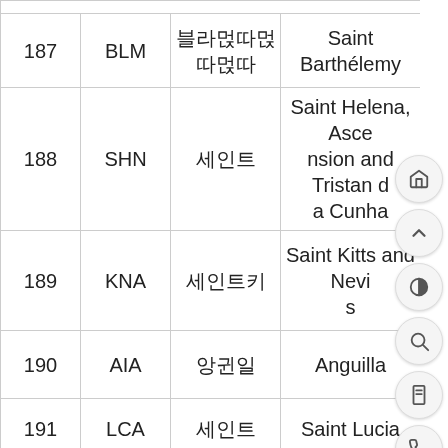|  |  |  |  |
| --- | --- | --- | --- |
| 187 | BLM | 블라맹딸 | Saint Barthélemy |
| 188 | SHN | 세인트 | Saint Helena, Ascension and Tristan da Cunha |
| 189 | KNA | 세인트키 | Saint Kitts and Nevis |
| 190 | AIA | 앵귈 | Anguilla |
| 191 | LCA | 세인트 | Saint Lucia |
| 192 | MAF | 생마르탱(프랑) | Saint Martin (French part) |
| 193 | SPM | 생피에르미 | Saint Pierre and Miquelon |